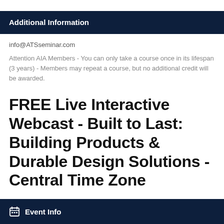Additional Information
info@ATSseminar.com
Attention AIA Members - You can only take a course once in its lifespan (3 years) - Members may repeat a course, but no additional credit will be awarded.
FREE Live Interactive Webcast - Built to Last: Building Products & Durable Design Solutions - Central Time Zone
Event Info